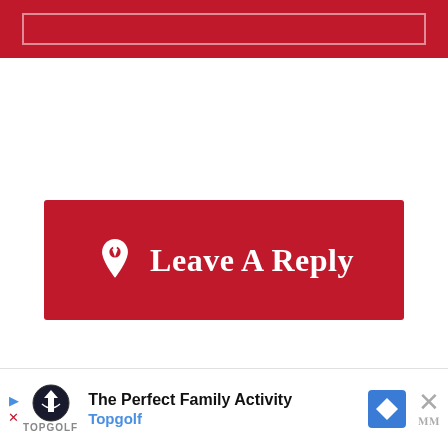[Figure (other): Top red bar with a white bordered rectangle inside]
Leave A Reply
Your email address will not be published. Required fields are marked *
Comment
[Figure (other): Comment input text box (dashed border)]
[Figure (other): Advertisement banner: The Perfect Family Activity - Topgolf]